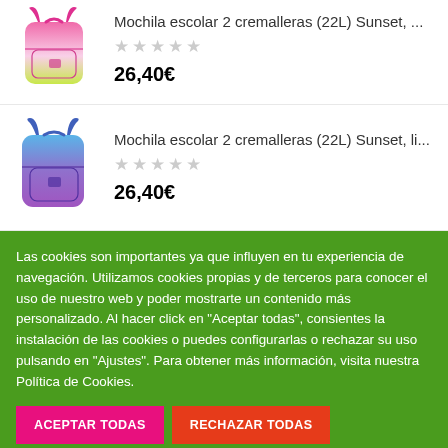Mochila escolar 2 cremalleras (22L) Sunset, ...
26,40€
[Figure (photo): Pink and yellow-green gradient backpack with two zippers]
Mochila escolar 2 cremalleras (22L) Sunset, li...
26,40€
[Figure (photo): Blue and purple gradient backpack with two zippers]
Las cookies son importantes ya que influyen en tu experiencia de navegación. Utilizamos cookies propias y de terceros para conocer el uso de nuestro web y poder mostrarte un contenido más personalizado. Al hacer click en "Aceptar todas", consientes la instalación de las cookies o puedes configurarlas o rechazar su uso pulsando en "Ajustes". Para obtener más información, visita nuestra Política de Cookies.
ACEPTAR TODAS
RECHAZAR TODAS
AJUSTES
LEER MÁS